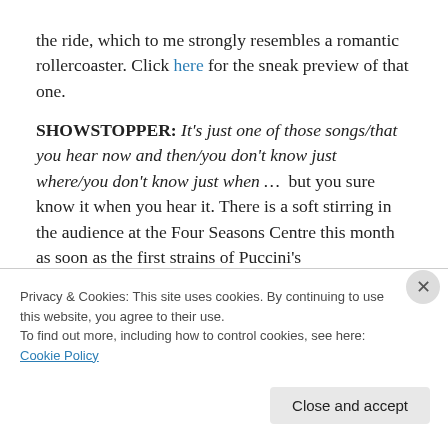the ride, which to me strongly resembles a romantic rollercoaster. Click here for the sneak preview of that one.
SHOWSTOPPER: It's just one of those songs/that you hear now and then/you don't know just where/you don't know just when …  but you sure know it when you hear it. There is a soft stirring in the audience at the Four Seasons Centre this month as soon as the first strains of Puccini's
Privacy & Cookies: This site uses cookies. By continuing to use this website, you agree to their use.
To find out more, including how to control cookies, see here: Cookie Policy